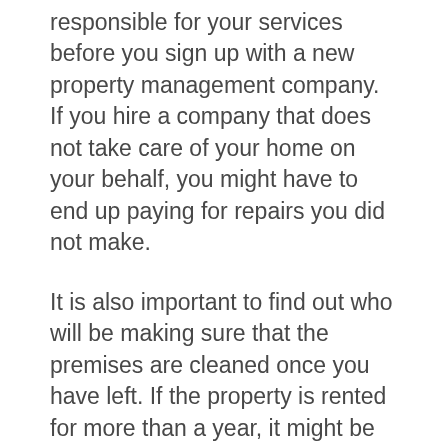responsible for your services before you sign up with a new property management company. If you hire a company that does not take care of your home on your behalf, you might have to end up paying for repairs you did not make.
It is also important to find out who will be making sure that the premises are cleaned once you have left. If the property is rented for more than a year, it might be better to work with a company that manages an entire property rather than one person who is responsible for exit bond cleaning and upkeep.
If you do end up lease cleaning for an entire property, there is a chance that the tenancy cleaning would continue on to your home. If this is